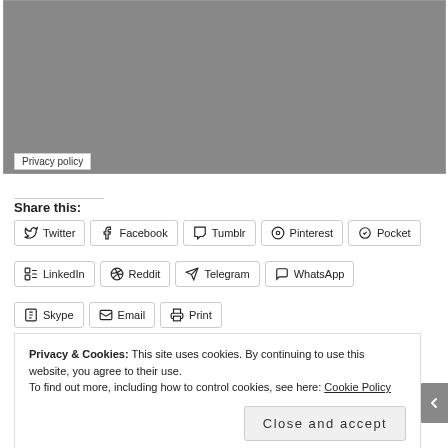[Figure (other): Gray map/image placeholder area]
Privacy policy
Share this:
Twitter Facebook Tumblr Pinterest Pocket LinkedIn Reddit Telegram WhatsApp Skype Email Print
Privacy & Cookies: This site uses cookies. By continuing to use this website, you agree to their use.
To find out more, including how to control cookies, see here: Cookie Policy
Close and accept
AIRPORT-TIME.AS